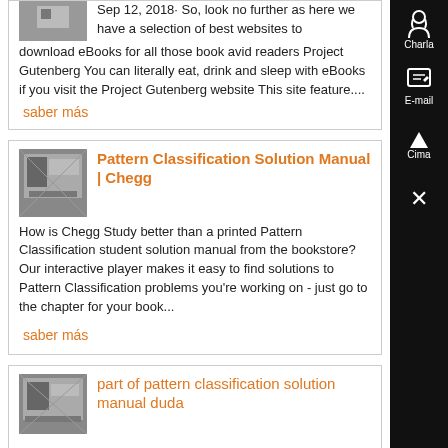Sep 12, 2018· So, look no further as here we have a selection of best websites to download eBooks for all those book avid readers Project Gutenberg You can literally eat, drink and sleep with eBooks if you visit the Project Gutenberg website This site feature....
saber más
Pattern Classification Solution Manual | Chegg
[Figure (photo): Small thumbnail image of a building/structure]
How is Chegg Study better than a printed Pattern Classification student solution manual from the bookstore? Our interactive player makes it easy to find solutions to Pattern Classification problems you're working on - just go to the chapter for your book...
saber más
part of pattern classification solution manual duda
[Figure (photo): Small thumbnail image of a building/structure]